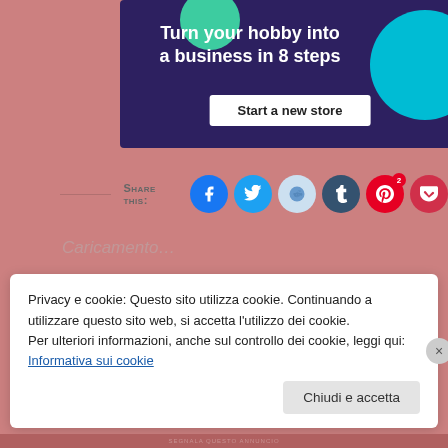[Figure (illustration): Advertisement banner with dark purple background, green and cyan decorative shapes, bold white text 'Turn your hobby into a business in 8 steps', and a white 'Start a new store' button]
Share this:
Caricamento...
Privacy e cookie: Questo sito utilizza cookie. Continuando a utilizzare questo sito web, si accetta l'utilizzo dei cookie.
Per ulteriori informazioni, anche sul controllo dei cookie, leggi qui:
Informativa sui cookie
Chiudi e accetta